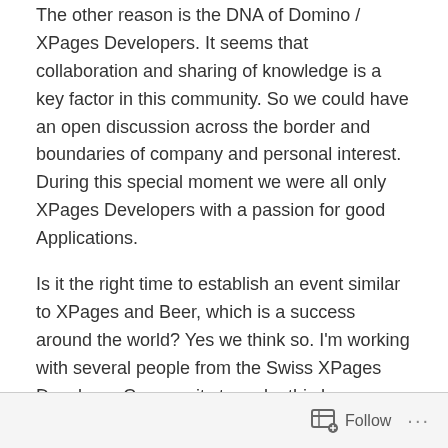The other reason is the DNA of Domino / XPages Developers. It seems that collaboration and sharing of knowledge is a key factor in this community. So we could have an open discussion across the border and boundaries of company and personal interest. During this special moment we were all only XPages Developers with a passion for good Applications.
Is it the right time to establish an event similar to XPages and Beer, which is a success around the world? Yes we think so. I'm working with several people from the Swiss XPages Developer Community to make this happen. The open discussion and the sharing of knowledge and experience was in the past a success factor and will be in the future a success factor.
Follow ...